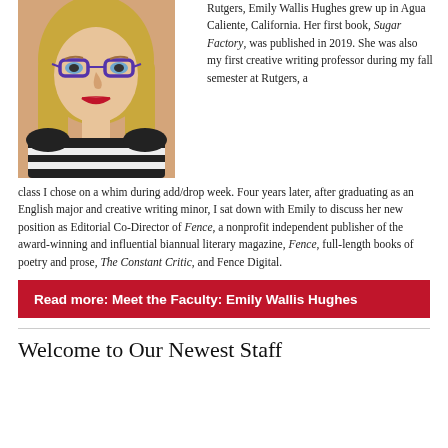[Figure (photo): Portrait photo of Emily Wallis Hughes, a woman with blonde hair and purple glasses wearing a black and white striped sweater]
Rutgers, Emily Wallis Hughes grew up in Agua Caliente, California. Her first book, Sugar Factory, was published in 2019. She was also my first creative writing professor during my fall semester at Rutgers, a class I chose on a whim during add/drop week. Four years later, after graduating as an English major and creative writing minor, I sat down with Emily to discuss her new position as Editorial Co-Director of Fence, a nonprofit independent publisher of the award-winning and influential biannual literary magazine, Fence, full-length books of poetry and prose, The Constant Critic, and Fence Digital.
Read more: Meet the Faculty: Emily Wallis Hughes
Welcome to Our Newest Staff